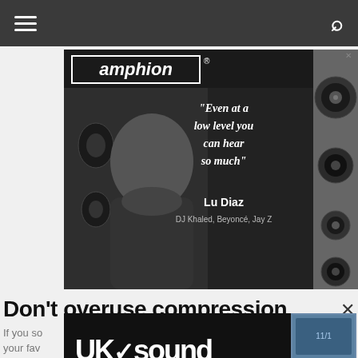Navigation bar with menu and search icons
[Figure (photo): Amphion speaker brand advertisement featuring a man in a recording studio with quote 'Even at a low level you can hear so much' attributed to Lu Diaz, DJ Khaled, Beyoncé, Jay Z]
Don't overuse compression
[Figure (photo): UK Sound advertisement - Studio Sound at an Affordable Price, with images of audio equipment]
If you so... ear your fav... mix there is ... love it when an... ke a